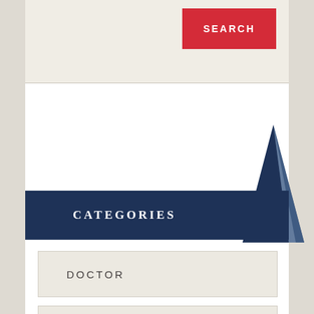[Figure (screenshot): Red SEARCH button on a light beige background panel]
CATEGORIES
DOCTOR
HEALTH
MAIN
[Figure (illustration): Decorative dark blue angular arrow/triangle graphic at bottom right]